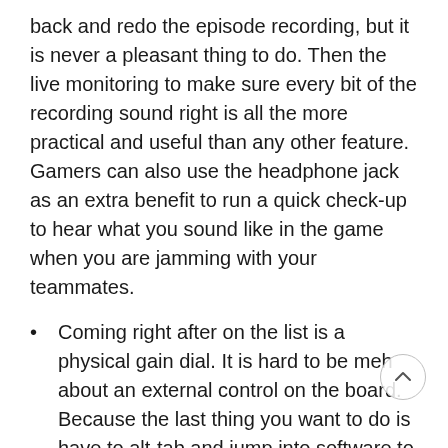back and redo the episode recording, but it is never a pleasant thing to do. Then the live monitoring to make sure every bit of the recording sound right is all the more practical and useful than any other feature. Gamers can also use the headphone jack as an extra benefit to run a quick check-up to hear what you sound like in the game when you are jamming with your teammates.
Coming right after on the list is a physical gain dial. It is hard to be meh about an external control on the board. Because the last thing you want to do is have to alt-tab and jump into software to change the settings, which is especially true when you are gaming.
The frame-less see-through style of the pop filter with a smiley FIFINE logo on it follows suites. It minimizes itself even further with the slightly curved shape. In terms of aesthetics, it smashes the obnoxious flapper pop filter. But it is not all about the look, the density of the plastic mesh is enough to prevent air from blowing directly into